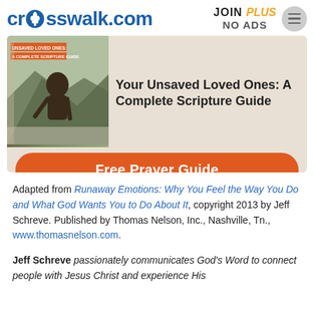[Figure (logo): crosswalk.com logo in blue with person icon, and JOIN PLUS / NO ADS text with menu button]
[Figure (infographic): Advertisement banner for prayer guide book about unsaved loved ones with orange Free Prayer Guide button]
Adapted from Runaway Emotions: Why You Feel the Way You Do and What God Wants You to Do About It, copyright 2013 by Jeff Schreve. Published by Thomas Nelson, Inc., Nashville, Tn., www.thomasnelson.com.
Jeff Schreve passionately communicates God's Word to connect people with Jesus Christ and experience His